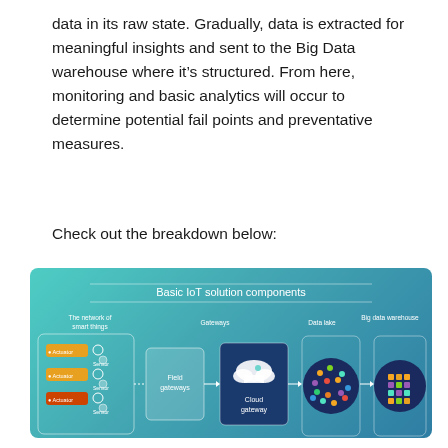data in its raw state. Gradually, data is extracted for meaningful insights and sent to the Big Data warehouse where it's structured. From here, monitoring and basic analytics will occur to determine potential fail points and preventative measures.
Check out the breakdown below:
[Figure (infographic): Basic IoT solution components diagram showing: The network of smart things (with Actuator and Sensor nodes), Field gateways, Cloud gateway, Data lake (shown as colorful dot cluster), and Big data warehouse (shown as colored grid). Arrows connect components left to right. All on a teal/blue gradient background.]